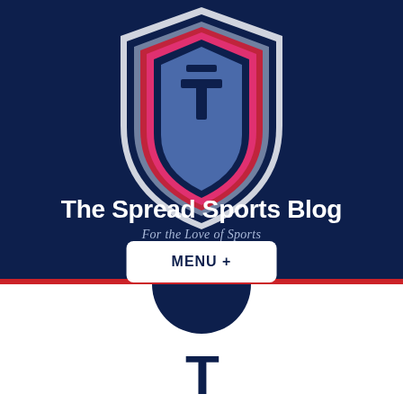[Figure (logo): Shield-shaped logo with layered design in navy, red, pink, gray, and blue with letter T in center, for The Spread Sports Blog]
The Spread Sports Blog
For the Love of Sports
MENU +